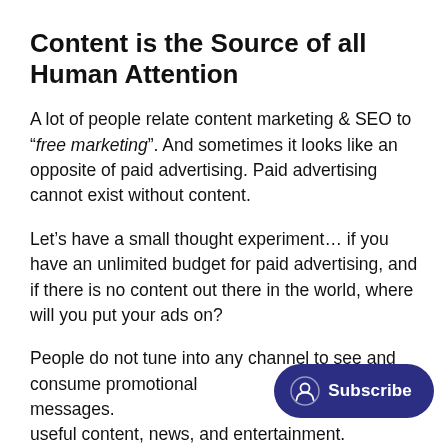Content is the Source of all Human Attention
A lot of people relate content marketing & SEO to “free marketing”. And sometimes it looks like an opposite of paid advertising. Paid advertising cannot exist without content.
Let’s have a small thought experiment… if you have an unlimited budget for paid advertising, and if there is no content out there in the world, where will you put your ads on?
People do not tune into any channel to see and consume promotional messages. useful content, news, and entertainment.